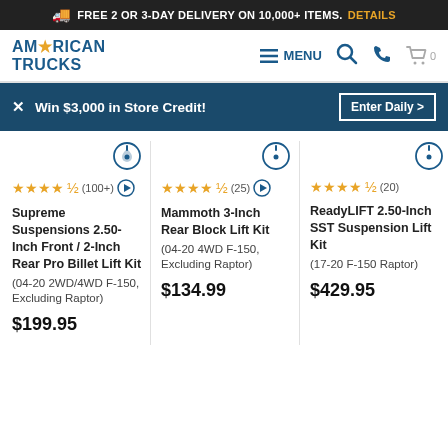FREE 2 OR 3-DAY DELIVERY ON 10,000+ ITEMS. DETAILS
[Figure (logo): American Trucks logo with star icon]
MENU
Win $3,000 in Store Credit! Enter Daily >
★★★★½ (100+) Supreme Suspensions 2.50-Inch Front / 2-Inch Rear Pro Billet Lift Kit (04-20 2WD/4WD F-150, Excluding Raptor) $199.95
★★★★½ (25) Mammoth 3-Inch Rear Block Lift Kit (04-20 4WD F-150, Excluding Raptor) $134.99
★★★★½ (20) ReadyLIFT 2.50-Inch SST Suspension Lift Kit (17-20 F-150 Raptor) $429.95